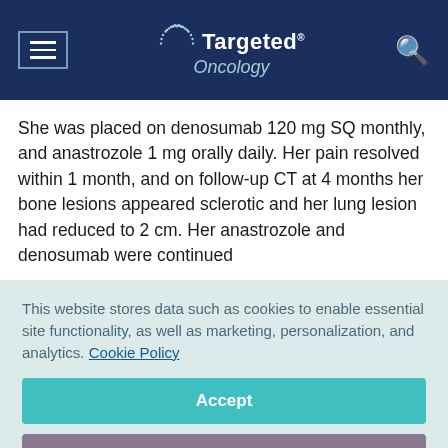Targeted Oncology
She was placed on denosumab 120 mg SQ monthly, and anastrozole 1 mg orally daily. Her pain resolved within 1 month, and on follow-up CT at 4 months her bone lesions appeared sclerotic and her lung lesion had reduced to 2 cm. Her anastrozole and denosumab were continued
This website stores data such as cookies to enable essential site functionality, as well as marketing, personalization, and analytics. Cookie Policy
Accept
Deny